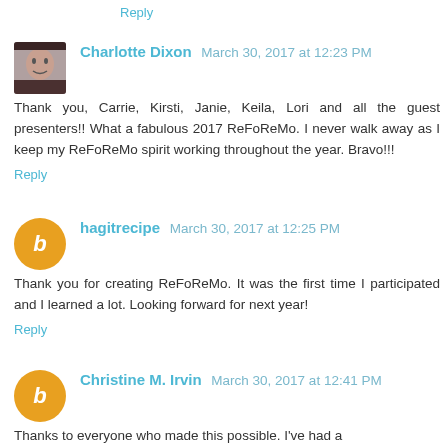Reply
Charlotte Dixon  March 30, 2017 at 12:23 PM
Thank you, Carrie, Kirsti, Janie, Keila, Lori and all the guest presenters!! What a fabulous 2017 ReFoReMo. I never walk away as I keep my ReFoReMo spirit working throughout the year. Bravo!!!
Reply
hagitrecipe  March 30, 2017 at 12:25 PM
Thank you for creating ReFoReMo. It was the first time I participated and I learned a lot. Looking forward for next year!
Reply
Christine M. Irvin  March 30, 2017 at 12:41 PM
Thanks to everyone who made this possible. I've had a